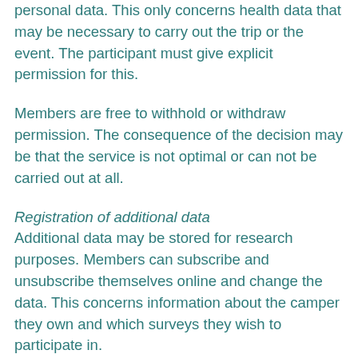personal data. This only concerns health data that may be necessary to carry out the trip or the event. The participant must give explicit permission for this.
Members are free to withhold or withdraw permission. The consequence of the decision may be that the service is not optimal or can not be carried out at all.
Registration of additional data
Additional data may be stored for research purposes. Members can subscribe and unsubscribe themselves online and change the data. This concerns information about the camper they own and which surveys they wish to participate in.
Provision to third parties
In order to optimally implement the services provided